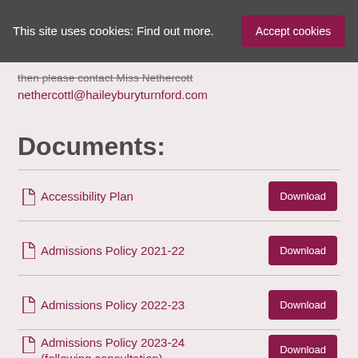This site uses cookies: Find out more.
then please contact Miss Nethercott nethercottl@haileyburyturnford.com
Documents:
Accessibility Plan
Admissions Policy 2021-22
Admissions Policy 2022-23
Admissions Policy 2023-24 (following consultation)